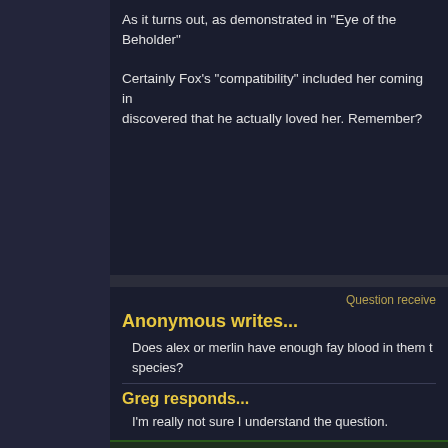As it turns out, as demonstrated in "Eye of the Beholder"
Certainly Fox's "compatibility" included her coming in... discovered that he actually loved her. Remember?
Question received
Anonymous writes...
Does alex or merlin have enough fay blood in them to... species?
Greg responds...
I'm really not sure I understand the question.
If they transform into another species than they can... to theoretically transform, but it also requires extensi... them than for the average Child of Oberon.